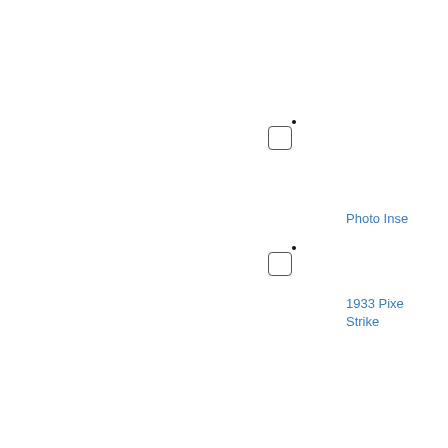[Figure (other): Checkbox with dot marker positioned in upper-center area of page]
Photo Inse
[Figure (other): Checkbox with dot marker positioned in lower-center area of page]
1933 Pixe Strike